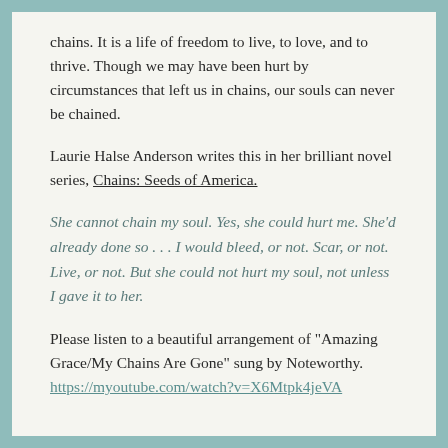chains. It is a life of freedom to live, to love, and to thrive. Though we may have been hurt by circumstances that left us in chains, our souls can never be chained.
Laurie Halse Anderson writes this in her brilliant novel series, Chains: Seeds of America.
She cannot chain my soul. Yes, she could hurt me. She'd already done so . . . I would bleed, or not. Scar, or not. Live, or not. But she could not hurt my soul, not unless I gave it to her.
Please listen to a beautiful arrangement of “Amazing Grace/My Chains Are Gone” sung by Noteworthy. https://myoutube.com/watch?v=X6Mtpk4jeVA